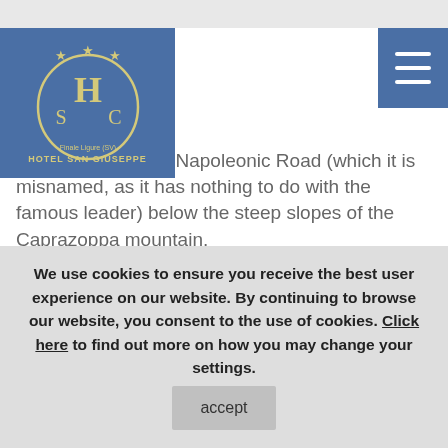[Figure (logo): Hotel San Giuseppe logo — blue square background with gold circular emblem containing HSC letters and stars, text 'HOTEL SAN GIUSEPPE' below]
…beginning of the Napoleonic Road (which it is misnamed, as it has nothing to do with the famous leader) below the steep slopes of the Caprazoppa mountain.

You pass a chain and take the small road marked with a red rhombus, which climbs gradually, leaving a small white chapel to your right. The track gradually becomes steeper – it is composed of a bed of loose stones - and with some turns followed by a very short section where you have to carry your bike. The route
We use cookies to ensure you receive the best user experience on our website. By continuing to browse our website, you consent to the use of cookies. Click here to find out more on how you may change your settings.